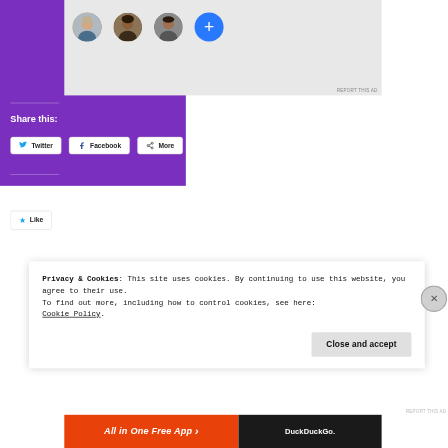[Figure (screenshot): Screenshot of a website with purple background showing user avatars (3 profile photos and a blue '+' button), share buttons (Twitter, Facebook, More), Like section, and a cookie consent banner overlay with 'Close and accept' button. Bottom shows ad bar with 'All in One Free App' and DuckDuckGo logos.]
Share this:
Twitter  Facebook  More
Like this:
Like
Privacy & Cookies: This site uses cookies. By continuing to use this website, you agree to their use.
To find out more, including how to control cookies, see here:
Cookie Policy
Close and accept
All in One Free App
DuckDuckGo.
REPORT THIS AD